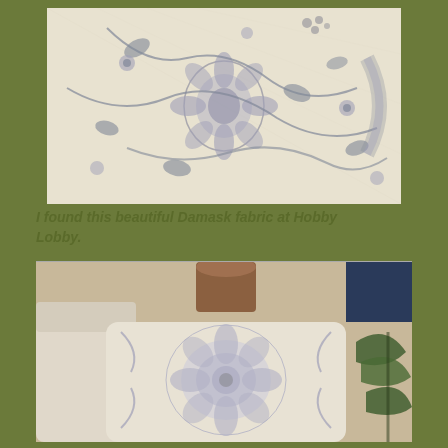[Figure (photo): Close-up photo of a gray and cream floral damask fabric with intricate botanical pattern including flowers, leaves, and vines on a textured linen background]
I found this beautiful Damask fabric at Hobby Lobby.
[Figure (photo): Photo of a small wooden side table or stool with a gray and cream damask floral pattern on its seat, placed near a cream sofa and decorative plant]